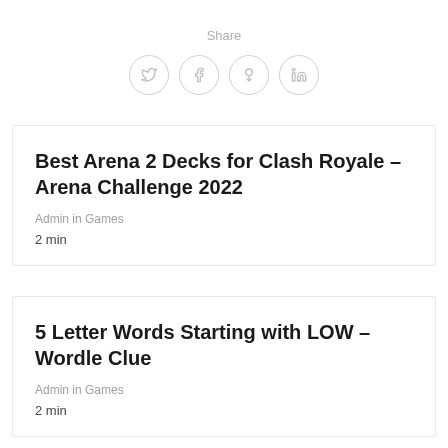Share
[Figure (infographic): Four circular social media share buttons: Twitter (t), Facebook (f), Pinterest (circle/pin icon), LinkedIn (in)]
Best Arena 2 Decks for Clash Royale – Arena Challenge 2022
Admin in Games
2 min
5 Letter Words Starting with LOW – Wordle Clue
Admin in Games
2 min